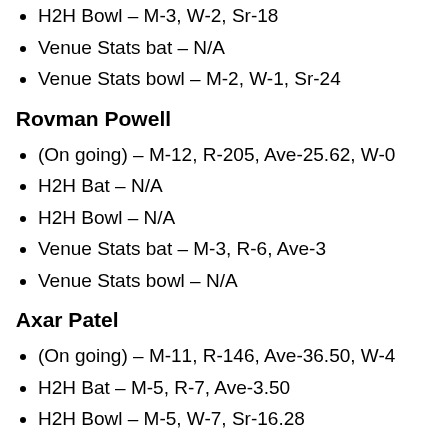H2H Bowl – M-3, W-2, Sr-18
Venue Stats bat – N/A
Venue Stats bowl – M-2, W-1, Sr-24
Rovman Powell
(On going) – M-12, R-205, Ave-25.62, W-0
H2H Bat – N/A
H2H Bowl – N/A
Venue Stats bat – M-3, R-6, Ave-3
Venue Stats bowl – N/A
Axar Patel
(On going) – M-11, R-146, Ave-36.50, W-4
H2H Bat – M-5, R-7, Ave-3.50
H2H Bowl – M-5, W-7, Sr-16.28